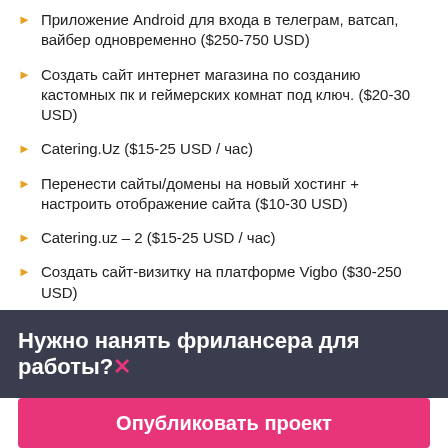Приложение Android для входа в телеграм, ватсап, вайбер одновременно ($250-750 USD)
Создать сайт интернет магазина по созданию кастомных пк и геймерских комнат под ключ. ($20-30 USD)
Catering.Uz ($15-25 USD / час)
Перенести сайты/домены на новый хостинг + настроить отображение сайта ($10-30 USD)
Catering.uz – 2 ($15-25 USD / час)
Создать сайт-визитку на платформе Vigbo ($30-250 USD)
Online Website Building System ($15-25 CAD / час)
Нужно нанять фрилансера для работы?✕
Опубликовать проект